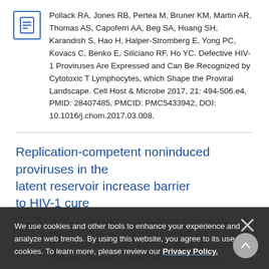Pollack RA, Jones RB, Pertea M, Bruner KM, Martin AR, Thomas AS, Capoferri AA, Beg SA, Huang SH, Karandish S, Hao H, Halper-Stromberg E, Yong PC, Kovacs C, Benko E, Siliciano RF, Ho YC. Defective HIV-1 Proviruses Are Expressed and Can Be Recognized by Cytotoxic T Lymphocytes, which Shape the Proviral Landscape. Cell Host & Microbe 2017, 21: 494-506.e4. PMID: 28407485, PMCID: PMC5433942, DOI: 10.1016/j.chom.2017.03.008.
Replication-competent noninduced proviruses in the latent reservoir increase barrier to HIV-1 cure
Ho YC, Shan L, Hosmane NN, Wang J, Laskey SB, Rosenbloom DI, Lai J, Blankson JN, Siliciano JD, Siliciano RF. Replication-competent noninduced proviruses in the latent reservoir increase barrier to HIV-1 cure.
We use cookies and other tools to enhance your experience and analyze web trends. By using this website, you agree to its use of cookies. To learn more, please review our Privacy Policy.